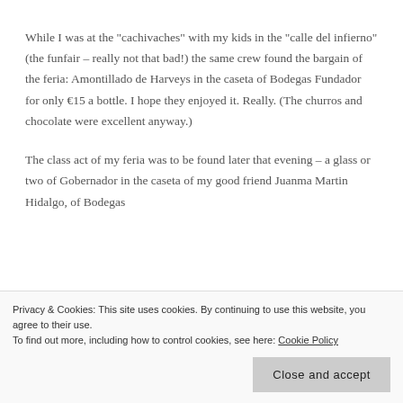While I was at the "cachivaches" with my kids in the "calle del infierno" (the funfair – really not that bad!) the same crew found the bargain of the feria: Amontillado de Harveys in the caseta of Bodegas Fundador for only €15 a bottle. I hope they enjoyed it. Really. (The churros and chocolate were excellent anyway.)
The class act of my feria was to be found later that evening – a glass or two of Gobernador in the caseta of my good friend Juanma Martin Hidalgo, of Bodegas
Privacy & Cookies: This site uses cookies. By continuing to use this website, you agree to their use.
To find out more, including how to control cookies, see here: Cookie Policy
Close and accept